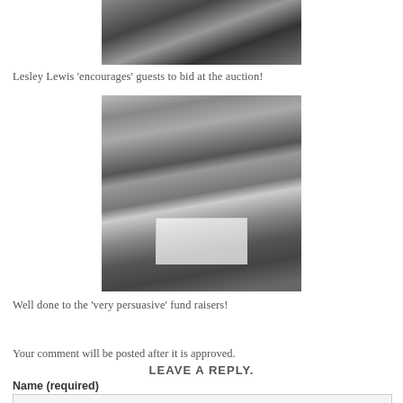[Figure (photo): Black and white photo of people seated at tables at an event/auction dinner]
Lesley Lewis 'encourages' guests to bid at the auction!
[Figure (photo): Black and white photo of three women posing together holding a document/clipboard, at what appears to be a charity fundraising event]
Well done to the 'very persuasive' fund raisers!
0 Comments
Your comment will be posted after it is approved.
LEAVE A REPLY.
Name (required)